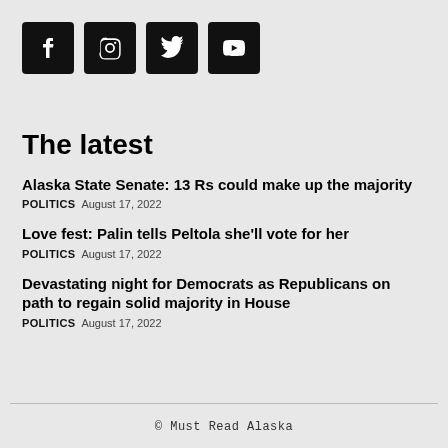[Figure (logo): Four social media icon buttons: Facebook, Instagram, Twitter, YouTube — black rounded square buttons with white icons]
The latest
Alaska State Senate: 13 Rs could make up the majority
POLITICS  August 17, 2022
Love fest: Palin tells Peltola she'll vote for her
POLITICS  August 17, 2022
Devastating night for Democrats as Republicans on path to regain solid majority in House
POLITICS  August 17, 2022
© Must Read Alaska